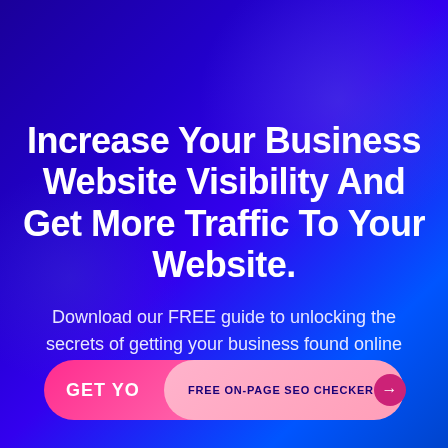Increase Your Business Website Visibility And Get More Traffic To Your Website.
Download our FREE guide to unlocking the secrets of getting your business found online
GET YO  FREE ON-PAGE SEO CHECKER →